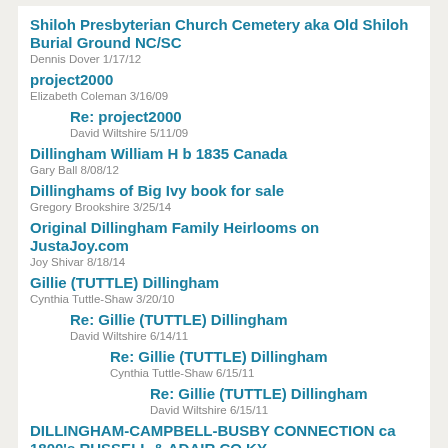Shiloh Presbyterian Church Cemetery aka Old Shiloh Burial Ground NC/SC
Dennis Dover 1/17/12
project2000
Elizabeth Coleman 3/16/09
Re: project2000
David Wiltshire 5/11/09
Dillingham William H b 1835 Canada
Gary Ball 8/08/12
Dillinghams of Big Ivy book for sale
Gregory Brookshire 3/25/14
Original Dillingham Family Heirlooms on JustaJoy.com
Joy Shivar 8/18/14
Gillie (TUTTLE) Dillingham
Cynthia Tuttle-Shaw 3/20/10
Re: Gillie (TUTTLE) Dillingham
David Wiltshire 6/14/11
Re: Gillie (TUTTLE) Dillingham
Cynthia Tuttle-Shaw 6/15/11
Re: Gillie (TUTTLE) Dillingham
David Wiltshire 6/15/11
DILLINGHAM-CAMPBELL-BUSBY CONNECTION ca 1800's RUSSELL & ADAIR CO KY